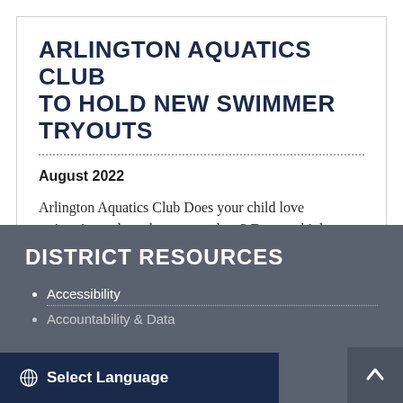ARLINGTON AQUATICS CLUB TO HOLD NEW SWIMMER TRYOUTS
August 2022
Arlington Aquatics Club Does your child love swimming to beat the summer heat? Do you think you might have the …
DISTRICT RESOURCES
Accessibility
Accountability & Data
Select Language